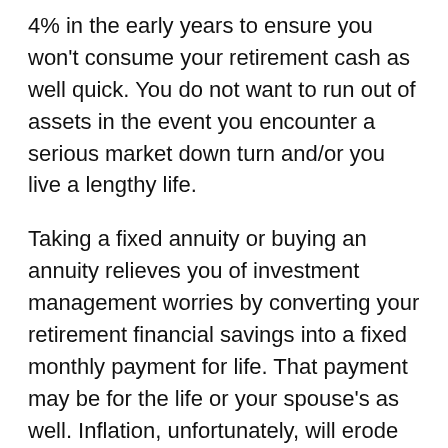4% in the early years  to ensure you won't consume your retirement cash as well quick. You do not want to run out of assets in the event you encounter a serious market down turn and/or you live a lengthy life.
Taking a fixed annuity or buying an annuity relieves you of investment management worries by converting your retirement financial savings into a fixed monthly payment for life. That payment may be for the life or your spouse's as well. Inflation, unfortunately, will erode the worth of your payments. Even at only a 2% inflation rate, a $2,000-a-month payment would lose a third of its purchasing power in 20 yrs. Also, taking an annuity limits access to your principal. That could be a issue if urgent matters or for sudden expenses crop up.
The table summarizes the benefits and drawbacks of each. You can constantly discover an intermediate